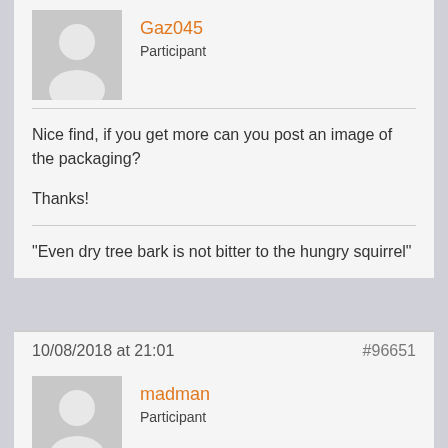Gaz045
Participant
Nice find, if you get more can you post an image of the packaging?
Thanks!
"Even dry tree bark is not bitter to the hungry squirrel"
10/08/2018 at 21:01
#96651
madman
Participant
Looked and looked and couldn't find images